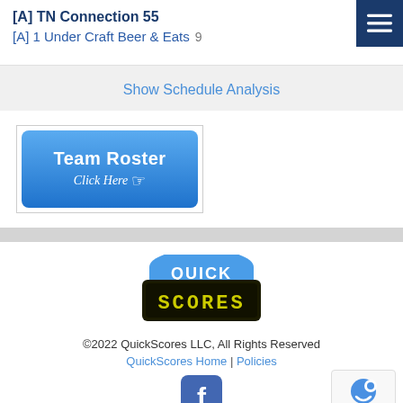[A] TN Connection 55
[A] 1 Under Craft Beer & Eats 9
Show Schedule Analysis
[Figure (screenshot): Blue Team Roster button with 'Click Here' text and cursor icon]
[Figure (logo): QuickScores logo with blue curved tab on top and dark scoreboard-style bottom]
©2022 QuickScores LLC, All Rights Reserved
QuickScores Home | Policies
[Figure (logo): Facebook logo icon in blue square with rounded corners]